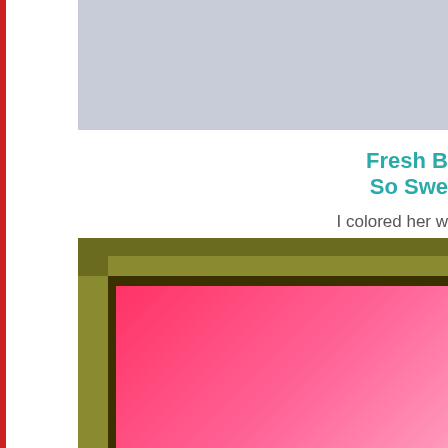[Figure (photo): Top photo, partially visible, grey/blue tones, cropped on right side of page]
Fresh B
So Swe
I colored her w
Then I punched he
2 3/8"
Start with a pie
[Figure (photo): Bottom photo showing a pink/red card on a dark cutting mat with ruler guides, partially cropped on right side]